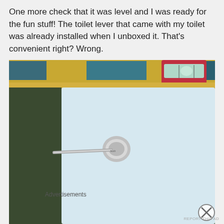One more check that it was level and I was ready for the fun stuff! The toilet lever that came with my toilet was already installed when I unboxed it. That's convenient right? Wrong.
[Figure (photo): Photo of a toilet tank with a chrome lever installed, viewed from the side against a dark wall. A spirit level with blue and teal markings and a red level vial is resting on top of the toilet tank.]
Advertisements